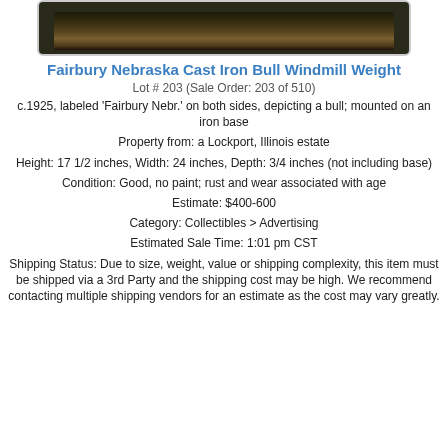[Figure (photo): Dark photograph showing a cast iron bull windmill weight, top portion visible at top of page]
Fairbury Nebraska Cast Iron Bull Windmill Weight
Lot # 203 (Sale Order: 203 of 510)
c.1925, labeled 'Fairbury Nebr.' on both sides, depicting a bull; mounted on an iron base
Property from: a Lockport, Illinois estate
Height: 17 1/2 inches, Width: 24 inches, Depth: 3/4 inches (not including base)
Condition: Good, no paint; rust and wear associated with age
Estimate: $400-600
Category: Collectibles > Advertising
Estimated Sale Time: 1:01 pm CST
Shipping Status: Due to size, weight, value or shipping complexity, this item must be shipped via a 3rd Party and the shipping cost may be high. We recommend contacting multiple shipping vendors for an estimate as the cost may vary greatly.